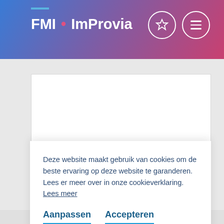FMI · ImProvia
Deze website maakt gebruik van cookies om de beste ervaring op deze website te garanderen. Lees er meer over in onze cookieverklaring. Lees meer
Aanpassen   Accepteren